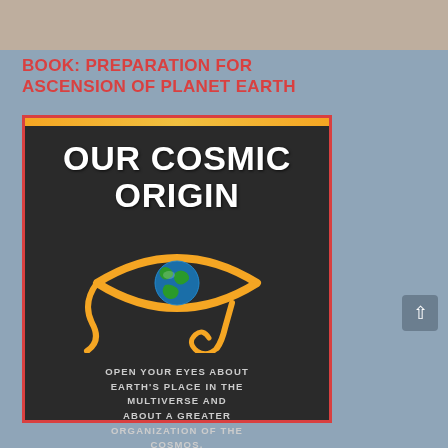[Figure (photo): Partial photo at top of page showing a person, cropped]
BOOK: PREPARATION FOR ASCENSION OF PLANET EARTH
[Figure (illustration): Book cover for 'Our Cosmic Origin' by Ismael Perez. Dark background with gold Eye of Horus symbol containing a globe as the pupil. Text reads: OUR COSMIC ORIGIN / OPEN YOUR EYES ABOUT EARTH'S PLACE IN THE MULTIVERSE AND ABOUT A GREATER ORGANIZATION OF THE COSMOS. / ISMAEL PEREZ]